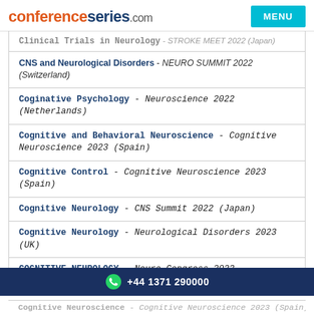conferenceseries.com
Clinical Trials in Neurology - STROKE MEET 2022 (Japan)
CNS and Neurological Disorders - NEURO SUMMIT 2022 (Switzerland)
Coginative Psychology - Neuroscience 2022 (Netherlands)
Cognitive and Behavioral Neuroscience - Cognitive Neuroscience 2023 (Spain)
Cognitive Control - Cognitive Neuroscience 2023 (Spain)
Cognitive Neurology - CNS Summit 2022 (Japan)
Cognitive Neurology - Neurological Disorders 2023 (UK)
COGNITIVE NEUROLOGY - Neuro Congress 2023 (Netherlands)
+44 1371 290000
Cognitive Neuroscience - Cognitive Neuroscience 2023 (Spain)